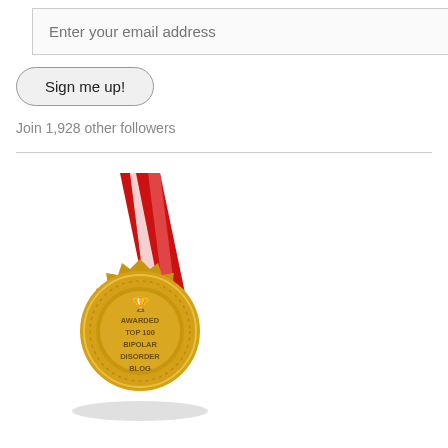Enter your email address
Sign me up!
Join 1,928 other followers
[Figure (illustration): Gold award medal with red and white ribbon. Text on medal reads: AWARDED TOP 100 BIPOLAR DISORDER BLOG with a trophy icon above.]